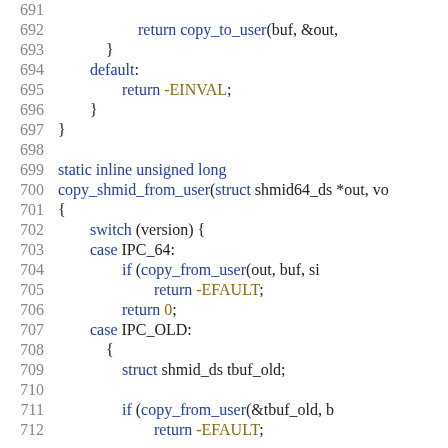Source code listing lines 691-712, showing C code with copy_to_user, copy_shmid_from_user, switch/case IPC_64/IPC_OLD logic.